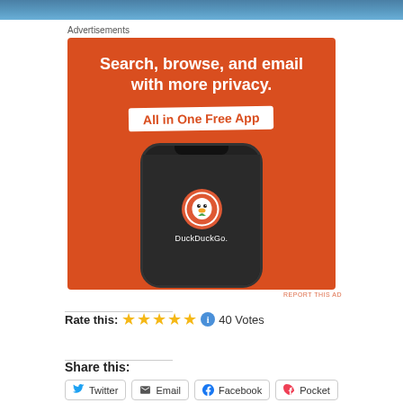[Figure (photo): Top cropped image of ocean or sky in blue tones]
Advertisements
[Figure (screenshot): DuckDuckGo advertisement banner on orange background showing phone with DuckDuckGo app. Text: Search, browse, and email with more privacy. All in One Free App. DuckDuckGo.]
REPORT THIS AD
Rate this: ★★★★★ ℹ 40 Votes
Share this:
Twitter
Email
Facebook
Pocket